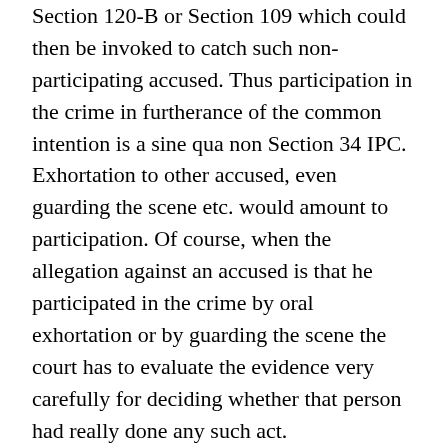Section 120-B or Section 109 which could then be invoked to catch such non-participating accused. Thus participation in the crime in furtherance of the common intention is a sine qua non Section 34 IPC. Exhortation to other accused, even guarding the scene etc. would amount to participation. Of course, when the allegation against an accused is that he participated in the crime by oral exhortation or by guarding the scene the court has to evaluate the evidence very carefully for deciding whether that person had really done any such act.
A Division Bench of the Madras High Court had said as early as in 1923 that “evidence of some distinct act by the accused, which can be regarded as part of the criminal act in question, must be required to justify the application on Section 34